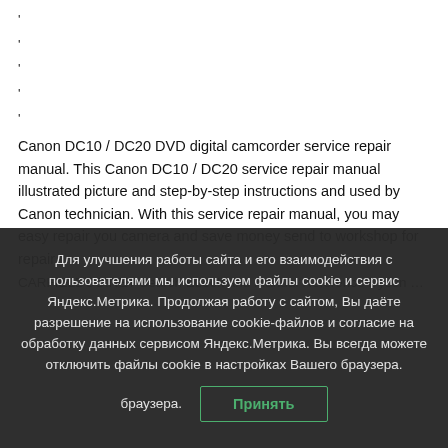'
'
'
'
'
Canon DC10 / DC20 DVD digital camcorder service repair manual. This Canon DC10 / DC20 service repair manual illustrated picture and step-by-step instructions and used by Canon technician. With this service repair manual, you may easy repair you camera and save money send to workshop for repair.
CARFIELDCO.NET Search Ebook and Manual Reference Dyson Dc10
Для улучшения работы сайта и его взаимодействия с пользователями мы используем файлы cookie и сервис Яндекс.Метрика. Продолжая работу с сайтом, Вы даёте разрешение на использование cookie-файлов и согласие на обработку данных сервисом Яндекс.Метрика. Вы всегда можете отключить файлы cookie в настройках Вашего браузера.
Принять